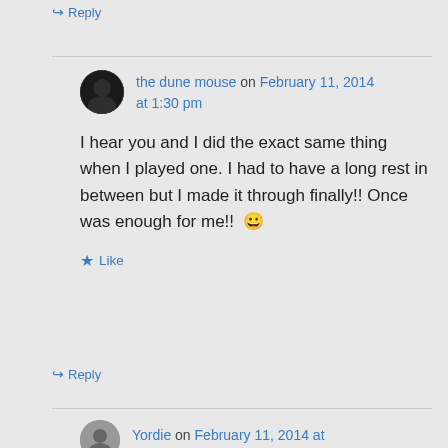↪ Reply
the dune mouse on February 11, 2014 at 1:30 pm
I hear you and I did the exact same thing when I played one. I had to have a long rest in between but I made it through finally!! Once was enough for me!! 😀
★ Like
↪ Reply
Yordie on February 11, 2014 at